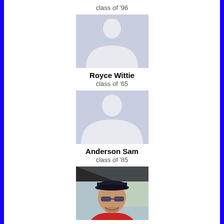class of '96
[Figure (illustration): Placeholder silhouette avatar for Royce Wittie]
Royce Wittie
class of '65
[Figure (illustration): Placeholder silhouette avatar for Anderson Sam]
Anderson Sam
class of '85
[Figure (photo): Photo of Dennis Fuller, a man wearing a black cap and sunglasses, smiling, wearing a red shirt]
Dennis Fuller
class of '90